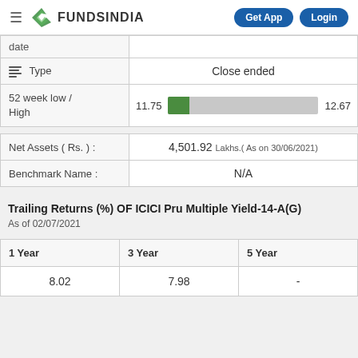FundsIndia — Get App | Login
|  |  |
| --- | --- |
| date |  |
| Type | Close ended |
| 52 week low / High | 11.75 ... 12.67 |
|  |  |
| --- | --- |
| Net Assets ( Rs. ) : | 4,501.92 Lakhs.( As on 30/06/2021) |
| Benchmark Name : | N/A |
Trailing Returns (%) OF ICICI Pru Multiple Yield-14-A(G)
As of 02/07/2021
| 1 Year | 3 Year | 5 Year |
| --- | --- | --- |
| 8.02 | 7.98 | - |